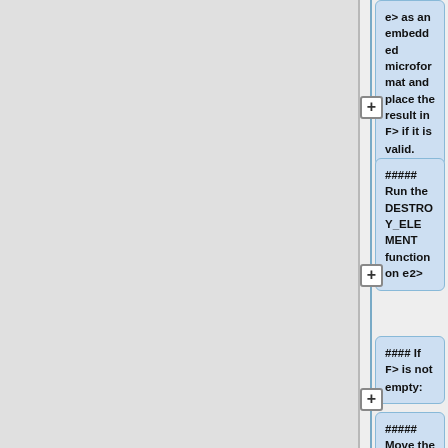e> as an embedded microformat and place the result in <code>F</code> if it is valid.
##### Run the DESTROY_ELEMENT function on <code>e2</code>
#### If <code>F</code> is not empty:
##### Move the first item in <code>F</code> to <code>A</code>